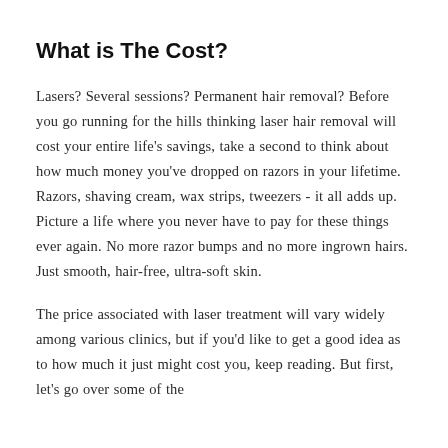What is The Cost?
Lasers? Several sessions? Permanent hair removal? Before you go running for the hills thinking laser hair removal will cost your entire life’s savings, take a second to think about how much money you’ve dropped on razors in your lifetime. Razors, shaving cream, wax strips, tweezers - it all adds up. Picture a life where you never have to pay for these things ever again. No more razor bumps and no more ingrown hairs. Just smooth, hair-free, ultra-soft skin.
The price associated with laser treatment will vary widely among various clinics, but if you’d like to get a good idea as to how much it just might cost you, keep reading. But first, let’s go over some of the